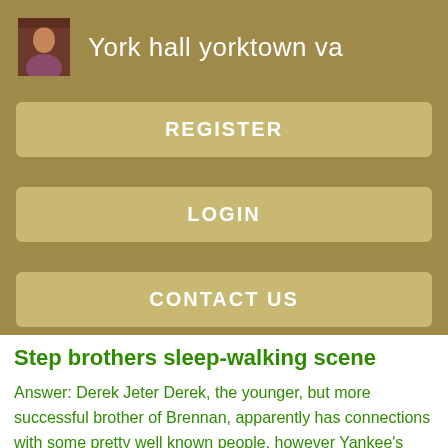[Figure (screenshot): App header with small profile thumbnail image on the left and title text 'York hall yorktown va' on the right, on a dark tan/khaki background]
REGISTER
LOGIN
CONTACT US
Step brothers sleep-walking scene
Answer: Derek Jeter Derek, the younger, but more successful brother of Brennan, apparently has connections with some pretty well known people, however Yankee's shortstop Derek Jeter is not one of them. What fitness guru is he watching? Later in the movie at his job interview, he calls the human resources woman Pan, even though her name is Pam. We see that Brennan has a very difficult time dealing with people he has not